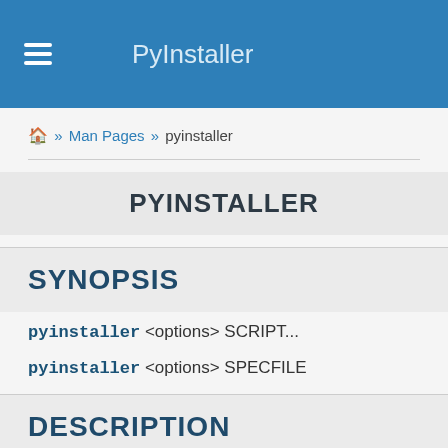PyInstaller
🏠 » Man Pages » pyinstaller
PYINSTALLER
SYNOPSIS
pyinstaller <options> SCRIPT...
pyinstaller <options> SPECFILE
DESCRIPTION
PyInstaller is a program that freezes (packages) Pyth...